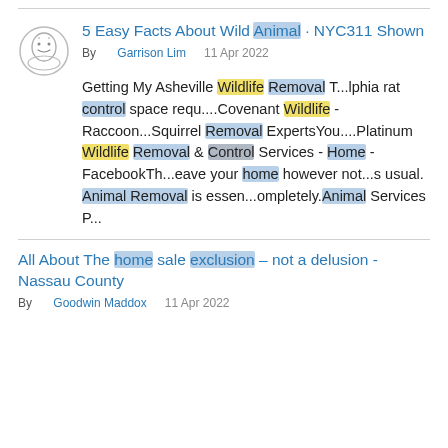5 Easy Facts About Wild Animal · NYC311 Shown
By Garrison Lim    11 Apr 2022
Getting My Asheville Wildlife Removal T...lphia rat control space requ....Covenant Wildlife - Raccoon...Squirrel Removal ExpertsYou....Platinum Wildlife Removal & Control Services - Home - FacebookTh...eave your home however not...s usual. Animal Removal is essen...ompletely.Animal Services P...
All About The home sale exclusion – not a delusion - Nassau County
By Goodwin Maddox    11 Apr 2022